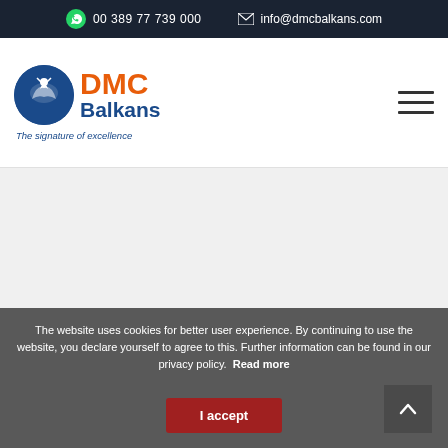00 389 77 739 000  |  info@dmcbalkans.com
[Figure (logo): DMC Balkans logo — circular emblem with eagle, 'DMC' in orange, 'Balkans' in dark blue, tagline 'The signature of excellence' in italic blue below]
The website uses cookies for better user experience. By continuing to use the website, you declare yourself to agree to this. Further information can be found in our privacy policy.  Read more
I accept